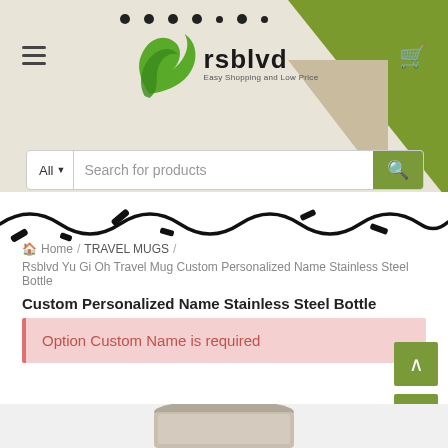[Figure (logo): rsblvd logo with green bird/leaf icon, name 'rsblvd' and tagline 'Easy Shopping and Low Price', on beige/green decorative header background]
[Figure (screenshot): Search bar with 'All' category dropdown and 'Search for products' placeholder text, green search button]
Home / TRAVEL MUGS / Rsblvd Yu Gi Oh Travel Mug Custom Personalized Name Stainless Steel Bottle
Option Custom Name is required
[Figure (photo): Bottom portion of stainless steel travel mug/bottle visible at bottom of page]